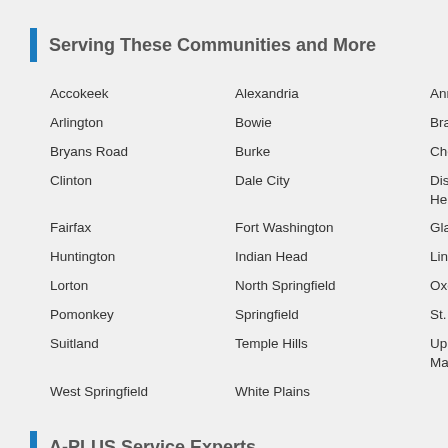Serving These Communities and More
Accokeek
Alexandria
Annandale
Arlington
Bowie
Brandywine
Bryans Road
Burke
Cheltenham
Clinton
Dale City
District Heights
Fairfax
Fort Washington
Glassmanor
Huntington
Indian Head
Lincolnia
Lorton
North Springfield
Oxon Hill
Pomonkey
Springfield
St. Charles
Suitland
Temple Hills
Upper Marlboro
West Springfield
White Plains
A-PLUS Service Experts
3334 Marshall Hall Road